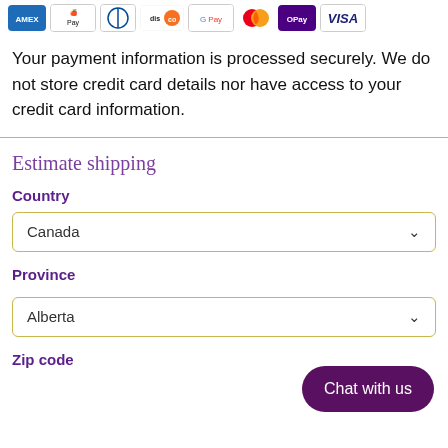[Figure (illustration): Row of payment method icons: Amex, Apple Pay, Diners Club, Discover, Google Pay, Mastercard, OPay, Visa]
Your payment information is processed securely. We do not store credit card details nor have access to your credit card information.
Estimate shipping
Country
Canada
Province
Alberta
Zip code
[Figure (illustration): Chat with us button — dark purple rounded pill button in bottom right corner]